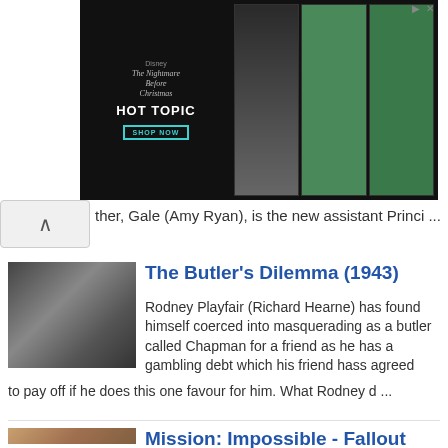[Figure (photo): Hot Topic Disney advertisement banner with Nightmare Before Christmas branding and three women in green outfits]
ther, Gale (Amy Ryan), is the new assistant Princi ...
[Figure (photo): Black and white still from The Butler's Dilemma (1943) showing two men in suits]
The Butler's Dilemma (1943)
Rodney Playfair (Richard Hearne) has found himself coerced into masquerading as a butler called Chapman for a friend as he has a gambling debt which his friend hass agreed to pay off if he does this one favour for him. What Rodney d ...
[Figure (photo): Color still from Mission: Impossible - Fallout (2018) showing men in suits at a party]
Mission: Impossible - Fallout (2018)
Despite having captured Solomon Lane (Sean Harris - The Goob), the Syndicate still lives on, now under the guise of an organization calling themselves the Apostles and still causing problems for Ethan Hunt (Tom Cruise - Edge of Tomo ...
[Figure (photo): Black and white still from My Brother's Keeper (1948)]
My Brother's Keeper (1948)
George Martin (Jack Warner - Against the Wind) had been a war hero but on returning